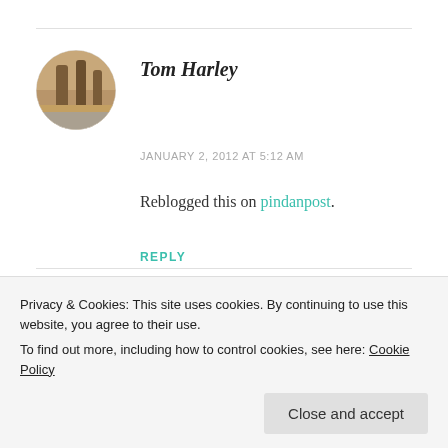[Figure (photo): Circular avatar photo of Tom Harley showing outdoor rocky/earthy scene]
Tom Harley
JANUARY 2, 2012 AT 5:12 AM
Reblogged this on pindanpost.
REPLY
[Figure (illustration): Circular avatar/icon image for Elise Zagore with decorative cartoon-style illustration]
Elise Zagore
Privacy & Cookies: This site uses cookies. By continuing to use this website, you agree to their use.
To find out more, including how to control cookies, see here: Cookie Policy
Close and accept
fairly new thing for me, however. I was in a